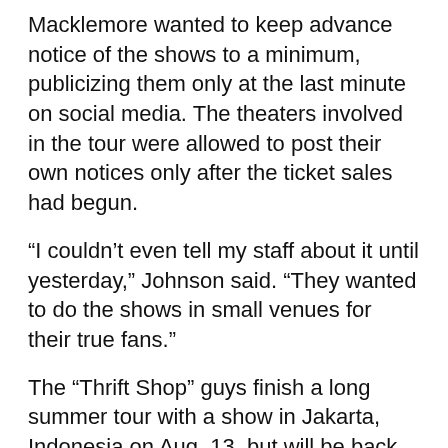Macklemore wanted to keep advance notice of the shows to a minimum, publicizing them only at the last minute on social media. The theaters involved in the tour were allowed to post their own notices only after the ticket sales had begun.
“I couldn’t even tell my staff about it until yesterday,” Johnson said. “They wanted to do the shows in small venues for their true fans.”
The “Thrift Shop” guys finish a long summer tour with a show in Jakarta, Indonesia on Aug. 13, but will be back in action just 10 days later for the “Camping Trip” swing, which begins Aug. 23 at the Bing Crosby Theater in Spokane. Following the Admiral stop, there’s one more campsite in Bellingham before they return to Seattle to headline the Bumbershoot music and art festival Sept. 2-4.